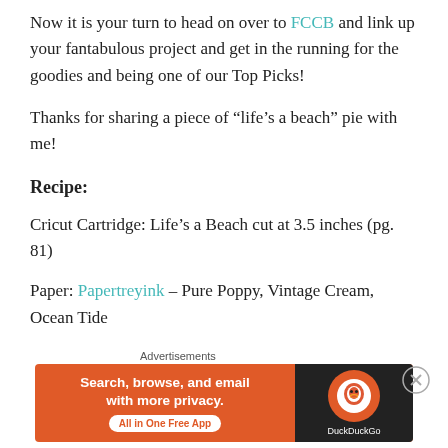Now it is your turn to head on over to FCCB and link up your fantabulous project and get in the running for the goodies and being one of our Top Picks!
Thanks for sharing a piece of “lifes a beach” pie with me!
Recipe:
Cricut Cartridge: Life’s a Beach cut at 3.5 inches (pg. 81)
Paper: Papertreyink – Pure Poppy, Vintage Cream, Ocean Tide
Cuttlebug: D’vine Swirls and Distressed Stripes
Ink: Close to My Heart – White Daisies and Chocolate
[Figure (screenshot): DuckDuckGo advertisement banner with orange background showing 'Search, browse, and email with more privacy. All in One Free App' text on left and DuckDuckGo logo on dark right panel. Advertisements label above it with a close button.]